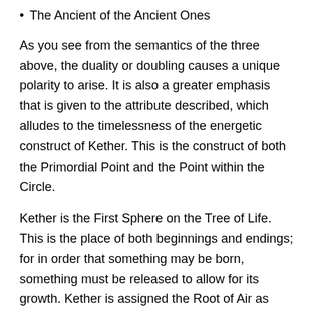The Ancient of the Ancient Ones
As you see from the semantics of the three above, the duality or doubling causes a unique polarity to arise. It is also a greater emphasis that is given to the attribute described, which alludes to the timelessness of the energetic construct of Kether. This is the construct of both the Primordial Point and the Point within the Circle.
Kether is the First Sphere on the Tree of Life. This is the place of both beginnings and endings; for in order that something may be born, something must be released to allow for its growth. Kether is assigned the Root of Air as element. And it is Pure Mind that is free to experience all loving compassion for it sees the imperfection of perfection and holds no judgment of what should be. One is the singular place of being that carries with it the hidden